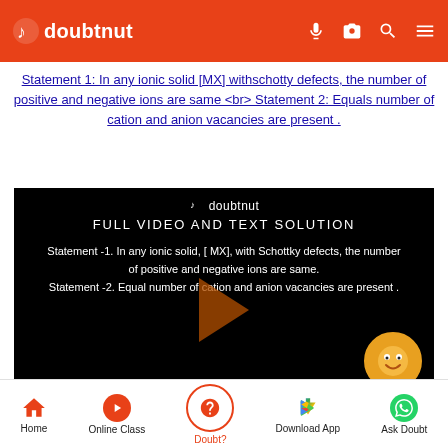doubtnut
Statement 1: In any ionic solid [MX] withschotty defects, the number of positive and negative ions are same <br> Statement 2: Equals number of cation and anion vacancies are present .
[Figure (screenshot): Doubtnut video thumbnail on black background showing 'FULL VIDEO AND TEXT SOLUTION' with text: Statement -1. In any ionic solid, [MX], with Schottky defects, the number of positive and negative ions are same. Statement -2. Equal number of cation and anion vacancies are present. Play button overlay and mascot character visible. WWW.DOUBTNUT.COM at bottom.]
Home | Online Class | Doubt? | Download App | Ask Doubt